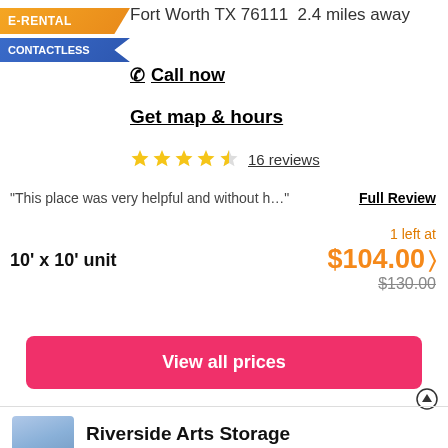E-RENTAL
CONTACTLESS
Fort Worth TX 76111  2.4 miles away
Call now
Get map & hours
16 reviews
“This place was very helpful and without h…”  Full Review
10' x 10' unit
1 left at
$104.00
$130.00
View all prices
Riverside Arts Storage